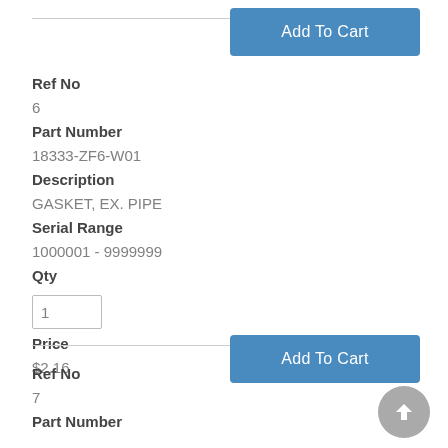[Figure (other): Add To Cart button at top right]
Ref No
6
Part Number
18333-ZF6-W01
Description
GASKET, EX. PIPE
Serial Range
1000001 - 9999999
Qty
1
Price
$2.16
[Figure (other): Add To Cart button at bottom right]
Ref No
7
Part Number